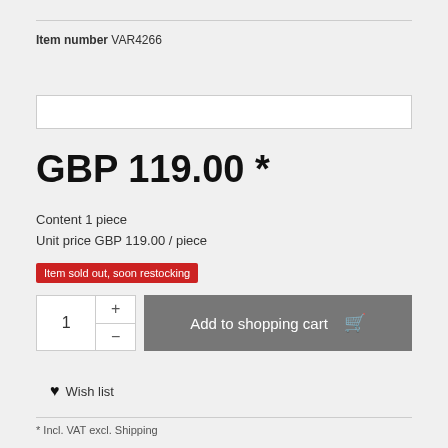Item number VAR4266
[Figure (screenshot): Empty dropdown/select input box]
GBP 119.00 *
Content 1 piece
Unit price GBP 119.00 / piece
Item sold out, soon restocking
[Figure (screenshot): Quantity selector showing 1 with plus and minus buttons, and Add to shopping cart button with cart icon]
Wish list
* Incl. VAT excl. Shipping